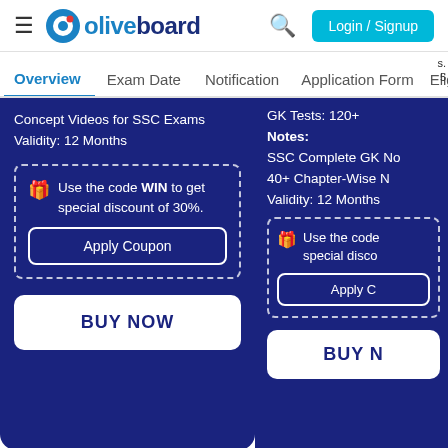oliveboard — Login / Signup
Overview | Exam Date | Notification | Application Form | Eligi...
Concept Videos for SSC Exams
Validity: 12 Months
Use the code WIN to get special discount of 30%.
Apply Coupon
BUY NOW
GK Tests: 120+
Notes:
SSC Complete GK No...
40+ Chapter-Wise No...
Validity: 12 Months
Use the code ... special disco...
Apply C...
BUY N...